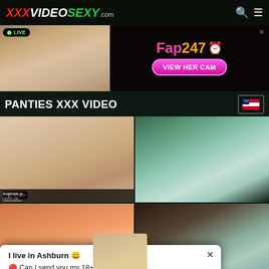XXXVIDEOSEXY.com
[Figure (photo): Adult webcam advertisement banner with live stream thumbnail on left and Fap247 branding with VIEW HER CAM button on right]
PANTIES XXX VIDEO
[Figure (photo): Video thumbnail 1: close-up of woman in beige panties, duration 2:00, title esposa, dorm pa...]
[Figure (photo): Video thumbnail 2: close-up adult content in light green]
[Figure (photo): Video thumbnail 3: adult content thumbnail]
[Figure (photo): Video thumbnail 4: adult content thumbnail]
I live in Ashburn 😊
🔴 Can I send you my 18+ photos?☺️🔴